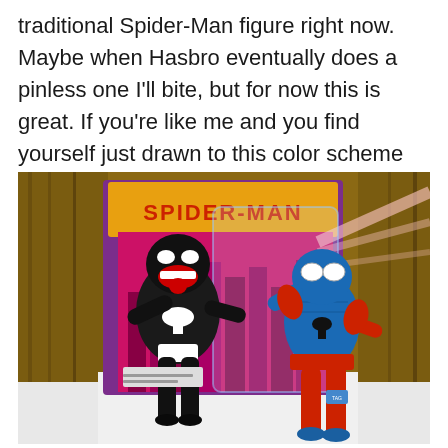traditional Spider-Man figure right now. Maybe when Hasbro eventually does a pinless one I'll bite, but for now this is great. If you're like me and you find yourself just drawn to this color scheme then this one's for you.
[Figure (photo): Photo of two action figures: a black Venom figure (left) and a blue/red Spider-Man figure (right) posed in front of a Spider-Man toy package/box with colorful cityscape artwork in the background, placed on a white surface with wooden shelving behind.]